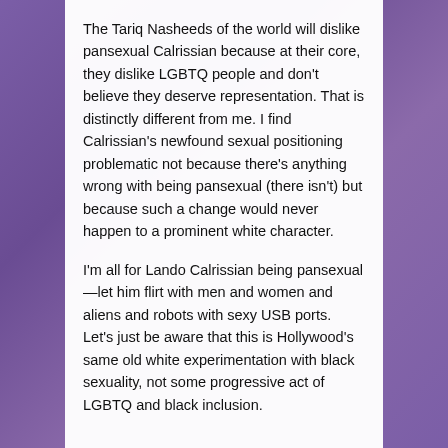The Tariq Nasheeds of the world will dislike pansexual Calrissian because at their core, they dislike LGBTQ people and don't believe they deserve representation. That is distinctly different from me. I find Calrissian's newfound sexual positioning problematic not because there's anything wrong with being pansexual (there isn't) but because such a change would never happen to a prominent white character.
I'm all for Lando Calrissian being pansexual—let him flirt with men and women and aliens and robots with sexy USB ports. Let's just be aware that this is Hollywood's same old white experimentation with black sexuality, not some progressive act of LGBTQ and black inclusion.